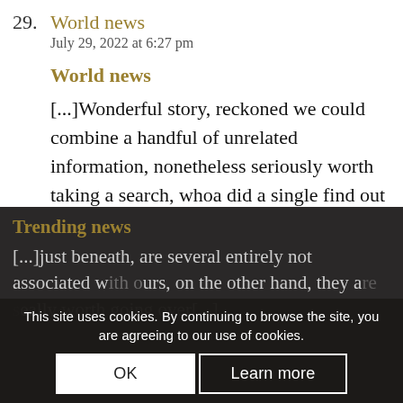29. World news
July 29, 2022 at 6:27 pm

World news

[...] Wonderful story, reckoned we could combine a handful of unrelated information, nonetheless seriously worth taking a search, whoa did a single find out about Mid East has got far more problerms also [...]
30. Trending news
July 29, 2022 at 3:35 pm

Trending news

[...]just beneath, are several entirely not associated with ours, on the other hand, they are really worth going over[...]
This site uses cookies. By continuing to browse the site, you are agreeing to our use of cookies.